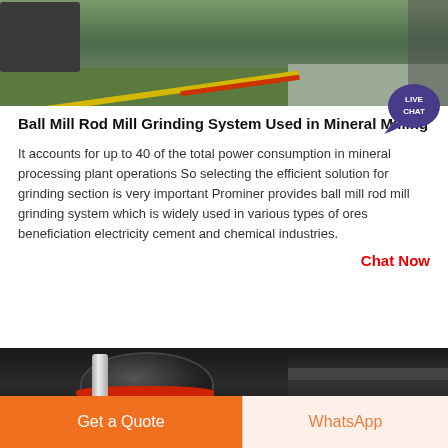[Figure (photo): Factory floor with green painted surface, yellow and red stripe markings, industrial machinery in background, workers visible]
Ball Mill Rod Mill Grinding System Used in Mineral Milling
It accounts for up to 40 of the total power consumption in mineral processing plant operations So selecting the efficient solution for grinding section is very important Prominer provides ball mill rod mill grinding system which is widely used in various types of ores beneficiation electricity cement and chemical industries.
Chat Now
[Figure (photo): Close-up of industrial grinding mill equipment showing large black cylindrical drum with red ring, silver components, and steel beams]
Get a Quote
WhatsApp